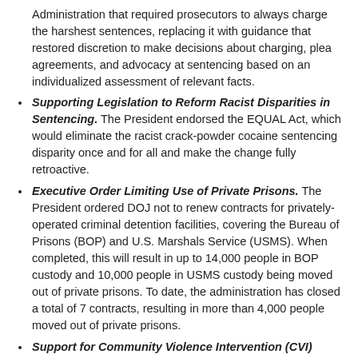Administration that required prosecutors to always charge the harshest sentences, replacing it with guidance that restored discretion to make decisions about charging, plea agreements, and advocacy at sentencing based on an individualized assessment of relevant facts.
Supporting Legislation to Reform Racist Disparities in Sentencing. The President endorsed the EQUAL Act, which would eliminate the racist crack-powder cocaine sentencing disparity once and for all and make the change fully retroactive.
Executive Order Limiting Use of Private Prisons. The President ordered DOJ not to renew contracts for privately-operated criminal detention facilities, covering the Bureau of Prisons (BOP) and U.S. Marshals Service (USMS). When completed, this will result in up to 14,000 people in BOP custody and 10,000 people in USMS custody being moved out of private prisons. To date, the administration has closed a total of 7 contracts, resulting in more than 4,000 people moved out of private prisons.
Support for Community Violence Intervention (CVI) Programs. Black boys and young men ages 15-34 make up 2% of the population but are 37% of homicide victims, and homicide is the leading cause of death for Black men under the age of 45. Until this Administration, however, CVI programs like violence interrupters and hospital-based programs, which are demonstrated to reduce violence by up to 60%, have been badly underfunded. Under President Biden, the Treasury Department